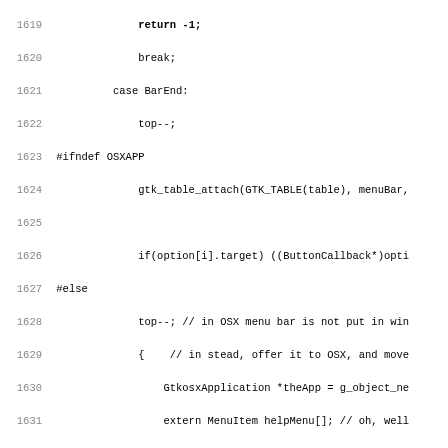Source code listing, lines 1619-1651, C/GTK code with preprocessor directives (#ifndef OSXAPP, #else, #endif), case statements (BarEnd, BoxEnd, Break, PopUp), and GTK/OSX application API calls.